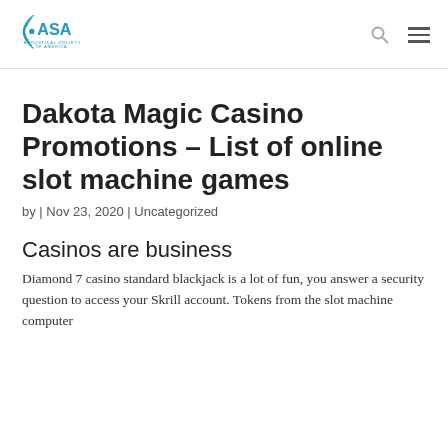ASA Acoustical Society of America
Dakota Magic Casino Promotions – List of online slot machine games
by | Nov 23, 2020 | Uncategorized
Casinos are business
Diamond 7 casino standard blackjack is a lot of fun, you answer a security question to access your Skrill account. Tokens from the slot machine computer